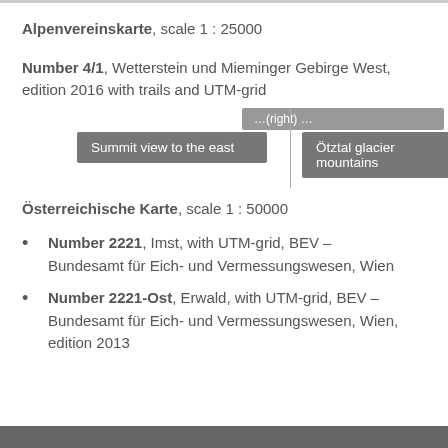Alpenvereinskarte, scale 1 : 25000
Number 4/1, Wetterstein und Mieminger Gebirge West, edition 2016 with trails and UTM-grid
[Figure (other): Two grey button-style labels side by side separated by a vertical line: 'Summit view to the east' and 'Ötztal glacier mountains', with a partially visible label above the right button]
Österreichische Karte, scale 1 : 50000
Number 2221, Imst, with UTM-grid, BEV – Bundesamt für Eich- und Vermessungswesen, Wien
Number 2221-Ost, Erwald, with UTM-grid, BEV – Bundesamt für Eich- und Vermessungswesen, Wien, edition 2013